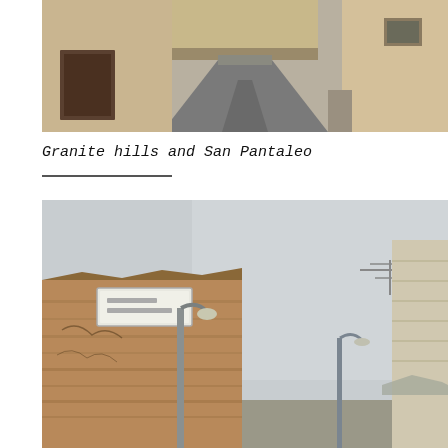[Figure (photo): Street view of a village with stone/stucco buildings and a road passing under an archway or bridge, overcast sky, sandy-colored walls]
Granite hills and San Pantaleo
[Figure (photo): Street-level view of a stone-walled village building with a street sign mounted on the wall, a lamp post, TV antenna, and overcast sky]